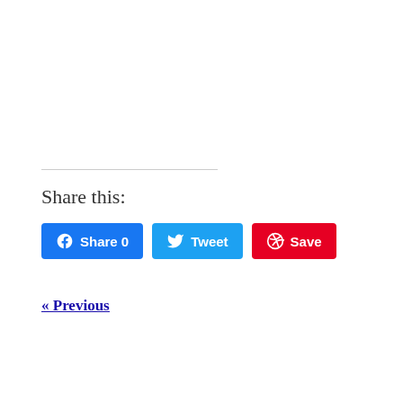Share this:
[Figure (infographic): Social share buttons: Facebook Share 0, Twitter Tweet, Pinterest Save]
« Previous